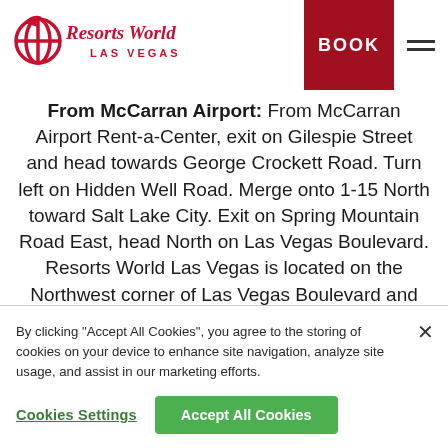Resorts World Las Vegas — BOOK
From McCarran Airport: From McCarran Airport Rent-a-Center, exit on Gilespie Street and head towards George Crockett Road. Turn left on Hidden Well Road. Merge onto 1-15 North toward Salt Lake City. Exit on Spring Mountain Road East, head North on Las Vegas Boulevard. Resorts World Las Vegas is located on the Northwest corner of Las Vegas Boulevard and Genting Boulevard.
By clicking "Accept All Cookies", you agree to the storing of cookies on your device to enhance site navigation, analyze site usage, and assist in our marketing efforts.
Cookies Settings
Accept All Cookies